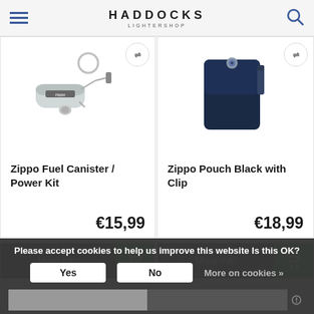HADDOCKS LIGHTERSHOP
[Figure (photo): Zippo Fuel Canister / Power Kit product image - silver cylindrical canister with keychain attachments]
Zippo Fuel Canister / Power Kit
€15,99
More info
[Figure (photo): Zippo Pouch Black with Clip product image - dark navy blue leather pouch with metal snap button]
Zippo Pouch Black with Clip
€18,99
More info
Please accept cookies to help us improve this website Is this OK?
Yes
No
More on cookies »